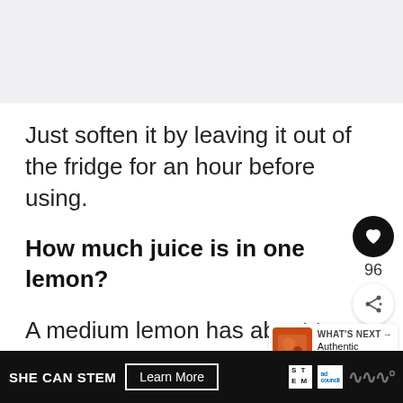[Figure (screenshot): Gray top area representing top portion of a web page]
Just soften it by leaving it out of the fridge for an hour before using.
How much juice is in one lemon?
A medium lemon has about two tablespoons of juice.
A large one will give you about three ta...
SHE CAN STEM  Learn More  [STEM logo] [ad council logo]